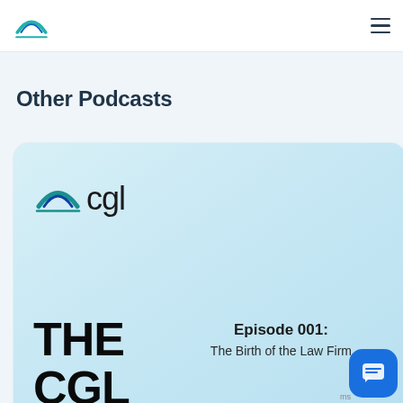CGL law firm website header with logo and hamburger menu
Other Podcasts
[Figure (illustration): Podcast card with CGL logo, 'THE CGL' large text, Episode 001: The Birth of the Law Firm, light blue gradient background]